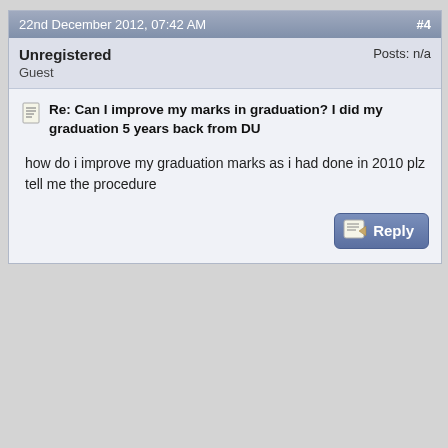22nd December 2012, 07:42 AM   #4
Unregistered
Guest
Posts: n/a
Re: Can I improve my marks in graduation? I did my graduation 5 years back from DU
how do i improve my graduation marks as i had done in 2010 plz tell me the procedure